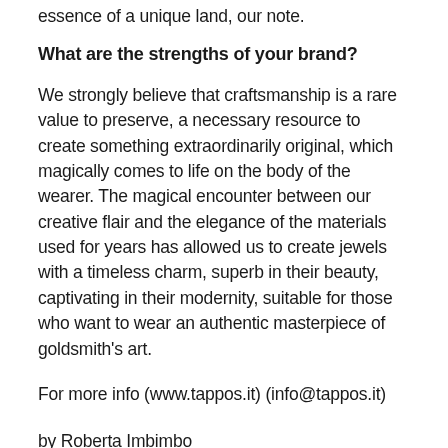essence of a unique land, our note.
What are the strengths of your brand?
We strongly believe that craftsmanship is a rare value to preserve, a necessary resource to create something extraordinarily original, which magically comes to life on the body of the wearer. The magical encounter between our creative flair and the elegance of the materials used for years has allowed us to create jewels with a timeless charm, superb in their beauty, captivating in their modernity, suitable for those who want to wear an authentic masterpiece of goldsmith's art.
For more info (www.tappos.it) (info@tappos.it)
by Roberta Imbimbo